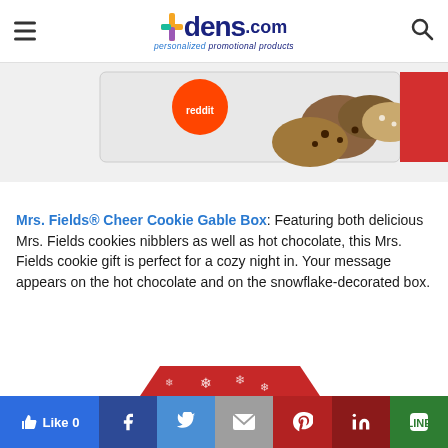pens.com personalized promotional products
[Figure (photo): Partial view of a Mrs. Fields cookie tin with cookies and Reddit branding visible]
Mrs. Fields® Cheer Cookie Gable Box: Featuring both delicious Mrs. Fields cookies nibblers as well as hot chocolate, this Mrs. Fields cookie gift is perfect for a cozy night in. Your message appears on the hot chocolate and on the snowflake-decorated box.
[Figure (photo): Partial view of a red snowflake-decorated Mrs. Fields Cheer Cookie Gable Box]
Like 0 | Facebook | Twitter | Gmail | Pinterest | LinkedIn | Line